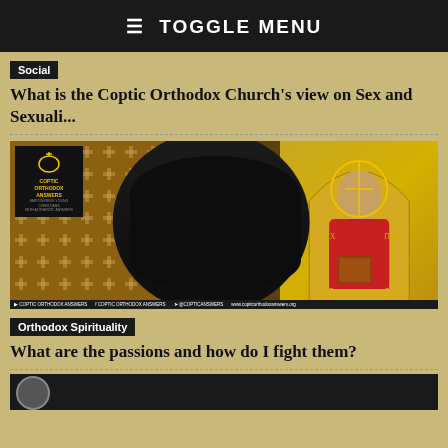≡ TOGGLE MENU
Social
What is the Coptic Orthodox Church's view on Sex and Sexuali...
[Figure (photo): Video thumbnail showing a Coptic Orthodox priest in black robes holding a tablet, standing in front of a decorative cross-patterned wall. A religious icon of Christ is visible on the right. The Coptic Orthodox Answers logo with a lightbulb and cross is in the upper left. Social media handles are shown at the bottom.]
Orthodox Spirituality
What are the passions and how do I fight them?
[Figure (photo): Partially visible video thumbnail at the bottom of the page, showing a dark background with a circular logo element.]